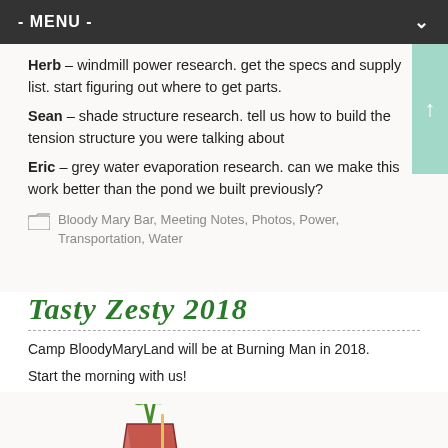- MENU -
Herb – windmill power research. get the specs and supply list. start figuring out where to get parts.
Sean – shade structure research. tell us how to build the tension structure you were talking about
Eric – grey water evaporation research. can we make this work better than the pond we built previously?
Bloody Mary Bar, Meeting Notes, Photos, Power, Transportation, Water
Tasty Zesty 2018
Camp BloodyMaryLand will be at Burning Man in 2018.
Start the morning with us!
[Figure (photo): A Bloody Mary cocktail in a tall glass with celery and garnish]